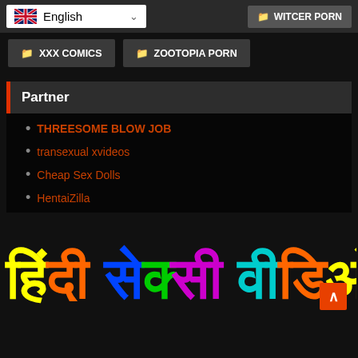[Figure (screenshot): Language selector showing UK flag and English with dropdown arrow, and WITCER PORN button]
XXX COMICS
ZOOTOPIA PORN
Partner
THREESOME BLOW JOB
transexual xvideos
Cheap Sex Dolls
HentaiZilla
[Figure (illustration): Colorful Hindi text reading Hindi sexy video in rainbow gradient colors on dark background]